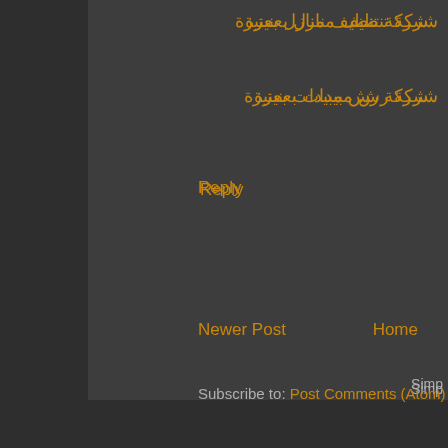شركة تنظيف منازل بعنيزة
شركة رش مبيدات بعنيزة
Reply
Newer Post
Home
Subscribe to: Post Comments (Atom)
Simp